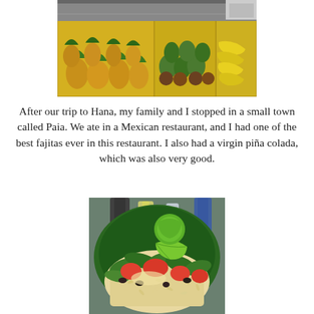[Figure (photo): Fruit market display with pineapples, avocados/limes, and bananas in yellow wooden crates]
After our trip to Hana, my family and I stopped in a small town called Paia. We ate in a Mexican restaurant, and I had one of the best fajitas ever in this restaurant. I also had a virgin piña colada, which was also very good.
[Figure (photo): Close-up of a fajita dish in a green bowl with rice, tomatoes, cilantro, lime wedge, and toppings at a Mexican restaurant]